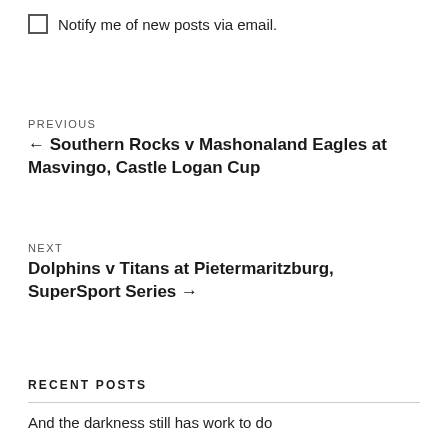Notify me of new posts via email.
PREVIOUS
← Southern Rocks v Mashonaland Eagles at Masvingo, Castle Logan Cup
NEXT
Dolphins v Titans at Pietermaritzburg, SuperSport Series →
RECENT POSTS
And the darkness still has work to do